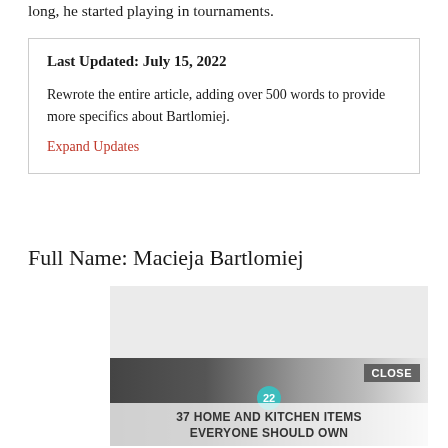long, he started playing in tournaments.
Last Updated: July 15, 2022

Rewrote the entire article, adding over 500 words to provide more specifics about Bartlomiej.
Expand Updates
Full Name: Macieja Bartlomiej
[Figure (photo): Advertisement banner showing home and kitchen items with text '37 HOME AND KITCHEN ITEMS EVERYONE SHOULD OWN' and a CLOSE button]